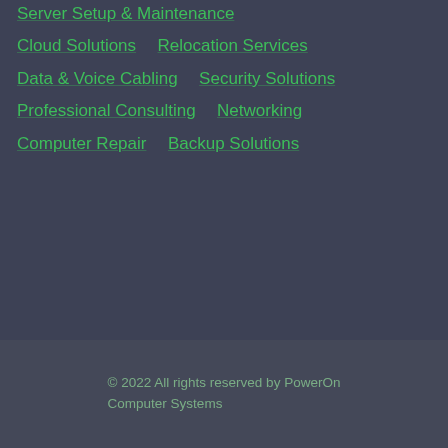Server Setup & Maintenance
Cloud Solutions
Relocation Services
Data & Voice Cabling
Security Solutions
Professional Consulting
Networking
Computer Repair
Backup Solutions
© 2022 All rights reserved by PowerOn Computer Systems